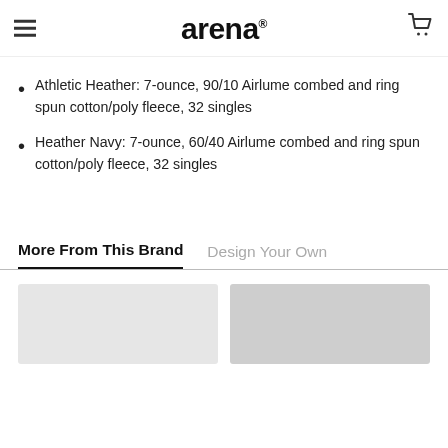arena (logo with hamburger menu and cart icon)
Athletic Heather: 7-ounce, 90/10 Airlume combed and ring spun cotton/poly fleece, 32 singles
Heather Navy: 7-ounce, 60/40 Airlume combed and ring spun cotton/poly fleece, 32 singles
More From This Brand | Design Your Own
[Figure (photo): Two product thumbnail images shown at bottom of page, light gray rectangles]